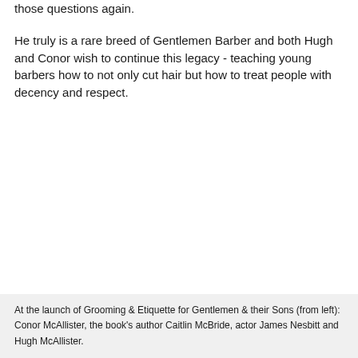those questions again.

He truly is a rare breed of Gentlemen Barber and both Hugh and Conor wish to continue this legacy - teaching young barbers how to not only cut hair but how to treat people with decency and respect.
At the launch of Grooming & Etiquette for Gentlemen & their Sons (from left): Conor McAllister, the book's author Caitlin McBride, actor James Nesbitt and Hugh McAllister.